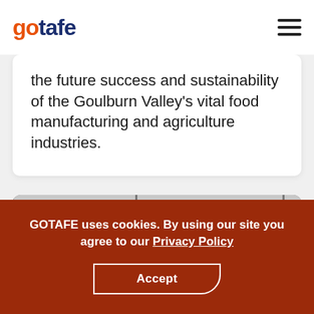gotafe
the future success and sustainability of the Goulburn Valley's vital food manufacturing and agriculture industries.
[Figure (photo): Black and white photo of a person writing on a whiteboard in an industrial or educational setting with glass partitions and ceiling structure visible]
GOTAFE uses cookies. By using our site you agree to our Privacy Policy
Accept